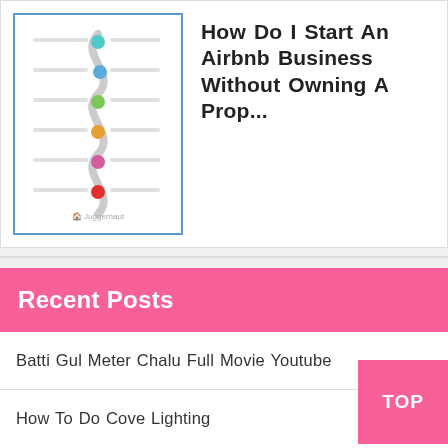[Figure (infographic): Thumbnail showing a colorful zigzag timeline infographic with Juggernaut branding]
How Do I Start An Airbnb Business Without Owning A Prop...
Recent Posts
Batti Gul Meter Chalu Full Movie Youtube
How To Do Cove Lighting
What Is The Difference Between Vfd And Soft Starter
How To Weld Stainless Steel With Arc Welder
How Do I Start An Airbnb Business Without Owning A Property